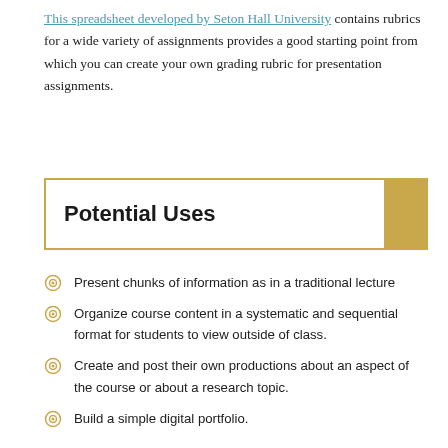This spreadsheet developed by Seton Hall University contains rubrics for a wide variety of assignments provides a good starting point from which you can create your own grading rubric for presentation assignments.
Potential Uses
Present chunks of information as in a traditional lecture
Organize course content in a systematic and sequential format for students to view outside of class.
Create and post their own productions about an aspect of the course or about a research topic.
Build a simple digital portfolio.